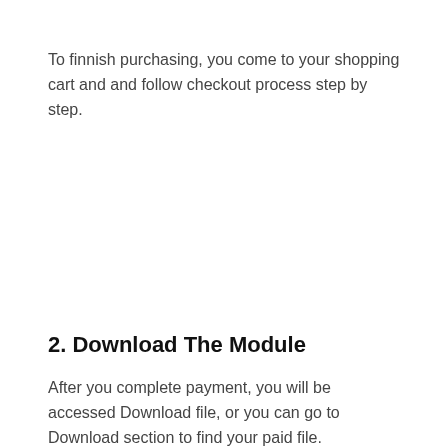To finnish purchasing, you come to your shopping cart and and follow checkout process step by step.
2. Download The Module
After you complete payment, you will be accessed Download file, or you can go to Download section to find your paid file.